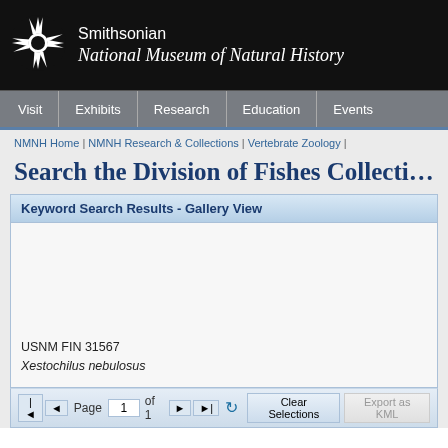[Figure (logo): Smithsonian sunburst logo (white starburst on black background)]
Smithsonian
National Museum of Natural History
Visit | Exhibits | Research | Education | Events
NMNH Home | NMNH Research & Collections | Vertebrate Zoology
Search the Division of Fishes Collecti…
Keyword Search Results - Gallery View
USNM FIN 31567
Xestochilus nebulosus
Page 1 of 1  |  Clear Selections  |  Export as KML